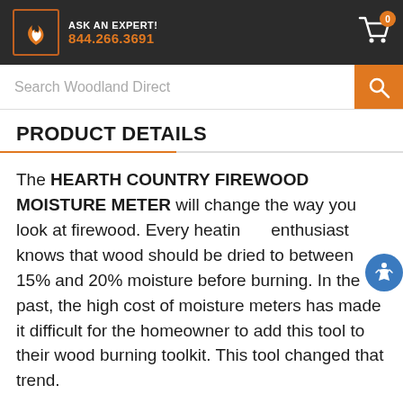ASK AN EXPERT! 844.266.3691
Search Woodland Direct
PRODUCT DETAILS
The HEARTH COUNTRY FIREWOOD MOISTURE METER will change the way you look at firewood. Every heating enthusiast knows that wood should be dried to between 15% and 20% moisture before burning. In the past, the high cost of moisture meters has made it difficult for the homeowner to add this tool to their wood burning toolkit. This tool changed that trend.
The meter has 4 sharp prongs that when pressed into the split face of a piece of wood, will measure the